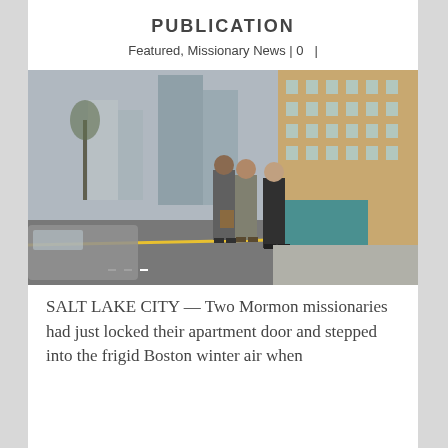PUBLICATION
Featured, Missionary News | 0  |
[Figure (photo): Two Mormon missionaries in suits shaking hands with a young man in a black jacket on a busy city street with yellow taxis and tall buildings in the background.]
SALT LAKE CITY — Two Mormon missionaries had just locked their apartment door and stepped into the frigid Boston winter air when